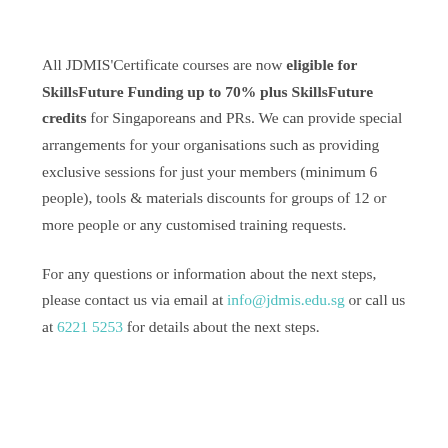All JDMIS'Certificate courses are now eligible for SkillsFuture Funding up to 70% plus SkillsFuture credits for Singaporeans and PRs. We can provide special arrangements for your organisations such as providing exclusive sessions for just your members (minimum 6 people), tools & materials discounts for groups of 12 or more people or any customised training requests.
For any questions or information about the next steps, please contact us via email at info@jdmis.edu.sg or call us at 6221 5253 for details about the next steps.